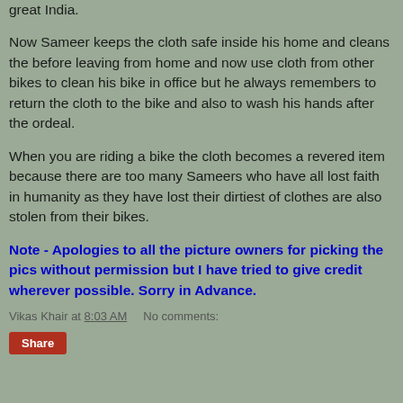great India.
Now Sameer keeps the cloth safe inside his home and cleans the before leaving from home and now use cloth from other bikes to clean his bike in office but he always remembers to return the cloth to the bike and also to wash his hands after the ordeal.
When you are riding a bike the cloth becomes a revered item because there are too many Sameers who have all lost faith in humanity as they have lost their dirtiest of clothes are also stolen from their bikes.
Note - Apologies to all the picture owners for picking the pics without permission but I have tried to give credit wherever possible. Sorry in Advance.
Vikas Khair at 8:03 AM    No comments:
Share